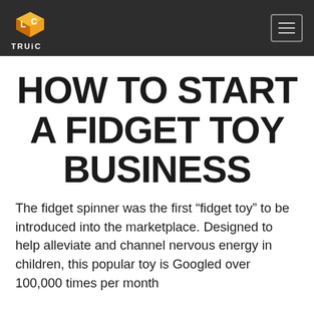[Figure (logo): TRUiC logo: orange 3D cube with letters L and C, with text TRUiC below, on dark background header]
HOW TO START A FIDGET TOY BUSINESS
The fidget spinner was the first “fidget toy” to be introduced into the marketplace. Designed to help alleviate and channel nervous energy in children, this popular toy is Googled over 100,000 times per month